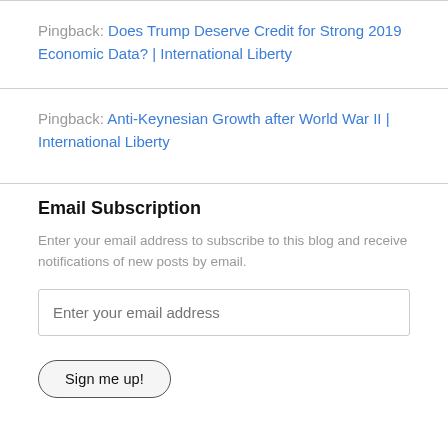Pingback: Does Trump Deserve Credit for Strong 2019 Economic Data? | International Liberty
Pingback: Anti-Keynesian Growth after World War II | International Liberty
Email Subscription
Enter your email address to subscribe to this blog and receive notifications of new posts by email.
Enter your email address
Sign me up!